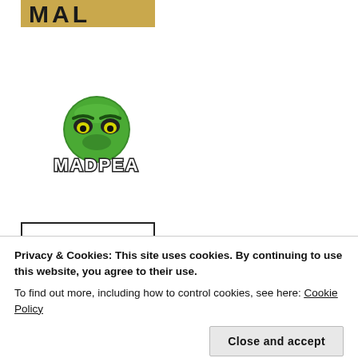[Figure (logo): Partial MAL logo visible at top, gold/dark colored text on gold background]
[Figure (logo): MadPea logo: green monster face with yellow eyes above the word MADPEA in bold outlined letters]
[Figure (other): Partial black-bordered box at bottom left, contents cropped]
Privacy & Cookies: This site uses cookies. By continuing to use this website, you agree to their use.
To find out more, including how to control cookies, see here: Cookie Policy
Close and accept